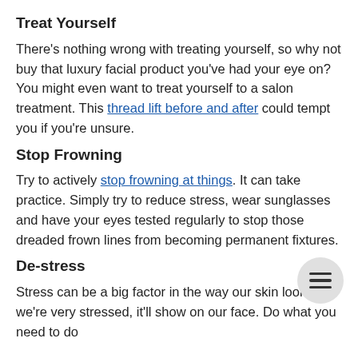Treat Yourself
There's nothing wrong with treating yourself, so why not buy that luxury facial product you've had your eye on? You might even want to treat yourself to a salon treatment. This thread lift before and after could tempt you if you're unsure.
Stop Frowning
Try to actively stop frowning at things. It can take practice. Simply try to reduce stress, wear sunglasses and have your eyes tested regularly to stop those dreaded frown lines from becoming permanent fixtures.
De-stress
Stress can be a big factor in the way our skin looks. If we're very stressed, it'll show on our face. Do what you need to do